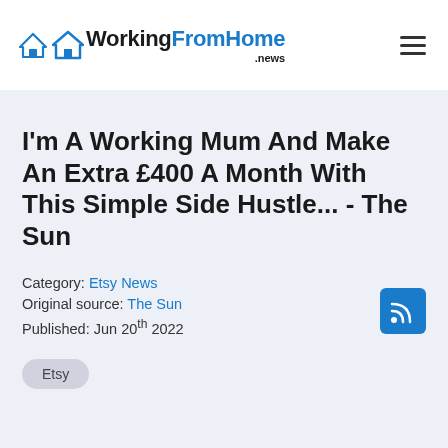WorkingFromHome.news
I'm A Working Mum And Make An Extra £400 A Month With This Simple Side Hustle... - The Sun
Category: Etsy News
Original source: The Sun
Published: Jun 20th 2022
Etsy